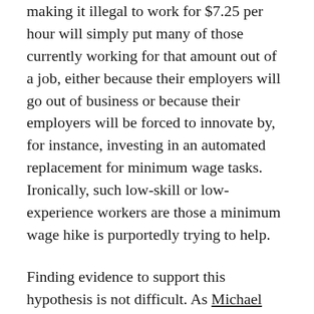making it illegal to work for $7.25 per hour will simply put many of those currently working for that amount out of a job, either because their employers will go out of business or because their employers will be forced to innovate by, for instance, investing in an automated replacement for minimum wage tasks. Ironically, such low-skill or low-experience workers are those a minimum wage hike is purportedly trying to help.
Finding evidence to support this hypothesis is not difficult. As Michael Strain details in a piece for Bloomberg, study of minimum wage hikes in Seattle indicate that we can expect a $15 per hour federal minimum wage to precipitate "significant declines in employment opportunities" for the low-skilled, low-experience population of the work force.